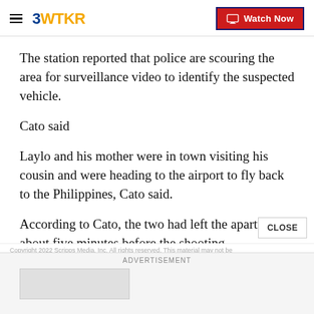3WTKR — Watch Now
The station reported that police are scouring the area for surveillance video to identify the suspected vehicle.
Cato said
Laylo and his mother were in town visiting his cousin and were heading to the airport to fly back to the Philippines, Cato said.
According to Cato, the two had left the apartment about five minutes before the shooting.
Copyright 2022 Scripps Media, Inc. All rights reserved. This material may not be...
ADVERTISEMENT